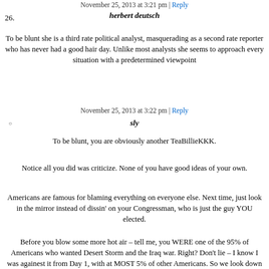November 25, 2013 at 3:21 pm | Reply
26.   herbert deutsch
To be blunt she is a third rate political analyst, masquerading as a second rate reporter who has never had a good hair day. Unlike most analysts she seems to approach every situation with a predetermined viewpoint
November 25, 2013 at 3:22 pm | Reply
sly
To be blunt, you are obviously another TeaBillieKKK.
Notice all you did was criticize. None of you have good ideas of your own.
Americans are famous for blaming everything on everyone else. Next time, just look in the mirror instead of dissin' on your Congressman, who is just the guy YOU elected.
Before you blow some more hot air – tell me, you WERE one of the 95% of Americans who wanted Desert Storm and the Iraq war. Right? Don't lie – I know I was againest it from Day 1, with at MOST 5% of other Americans. So we look down on you 95% for